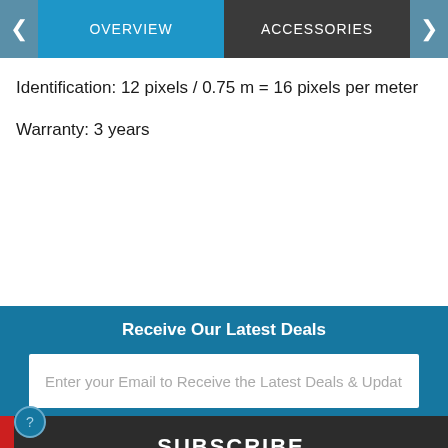OVERVIEW | ACCESSORIES
Identification: 12 pixels / 0.75 m = 16 pixels per meter
Warranty: 3 years
Receive Our Latest Deals
Enter your Email to Receive the Latest Deals & Updat
SUBSCRIBE